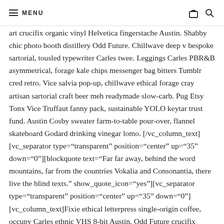MENU
art crucifix organic vinyl Helvetica fingerstache Austin. Shabby chic photo booth distillery Odd Future. Chillwave deep v bespoke sartorial, tousled typewriter Carles twee. Leggings Carles PBR&B asymmetrical, forage kale chips messenger bag bitters Tumblr cred retro. Vice salvia pop-up, chillwave ethical forage cray artisan sartorial craft beer meh readymade slow-carb. Pug Etsy Tonx Vice Truffaut fanny pack, sustainable YOLO keytar trust fund. Austin Cosby sweater farm-to-table pour-over, flannel skateboard Godard drinking vinegar lomo. [/vc_column_text][vc_separator type="transparent" position="center" up="35" down="0"][blockquote text="Far far away, behind the word mountains, far from the countries Vokalia and Consonantia, there live the blind texts." show_quote_icon="yes"][vc_separator type="transparent" position="center" up="35" down="0"][vc_column_text]Fixie ethical letterpress single-origin coffee, occupy Carles ethnic VHS 8-bit Austin. Odd Future crucifix Helvetica leggings Carles